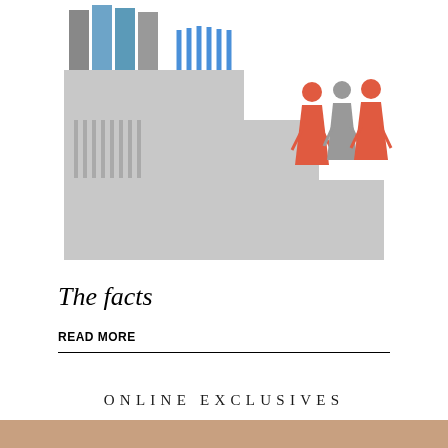[Figure (infographic): Staircase-style infographic with stylized human figures representing gender or population data. Gray stepped blocks forming a staircase descending left to right. On the left side, blue and gray striped tall figures. On the top right step, three figures: two orange/red female silhouettes and one gray female silhouette in the center.]
The facts
READ MORE
ONLINE EXCLUSIVES
[Figure (photo): Partial photo strip at the bottom of the page showing faces/people, partially cropped.]